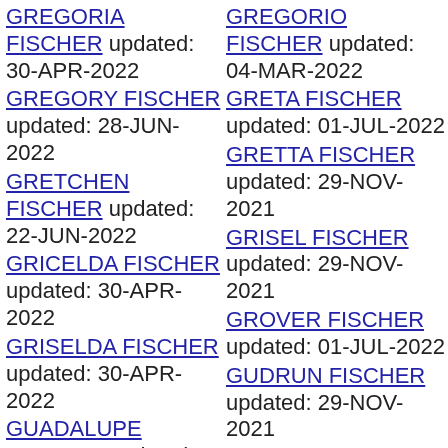GREGORIA FISCHER updated: 30-APR-2022
GREGORIO FISCHER updated: 04-MAR-2022
GREGORY FISCHER updated: 28-JUN-2022
GRETA FISCHER updated: 01-JUL-2022
GRETCHEN FISCHER updated: 22-JUN-2022
GRETTA FISCHER updated: 29-NOV-2021
GRICELDA FISCHER updated: 30-APR-2022
GRISEL FISCHER updated: 29-NOV-2021
GRISELDA FISCHER updated: 30-APR-2022
GROVER FISCHER updated: 01-JUL-2022
GUADALUPE FISCHER updated: 16-JUL-2022
GUDRUN FISCHER updated: 29-NOV-2021
GUILLERMINA FISCHER updated: 04-MAR-2022
GUILLERMO FISCHER updated: 27-MAR-2022
GUS FISCHER updated: 27-MAR-2022
GUSSIE FISCHER updated: 29-NOV-2021
GUSTAVO FISCHER updated: 27-JAN-2022
GUY FISCHER updated: 13-FEB-2022
GWEN FISCHER
GWENDA FISCHER